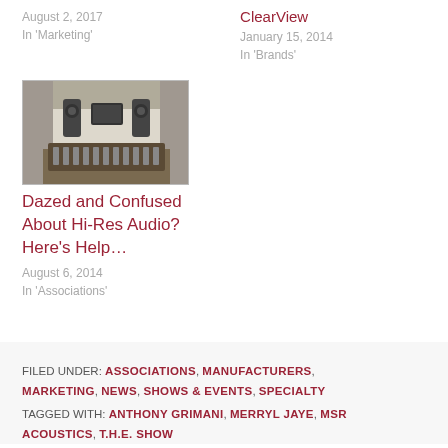August 2, 2017
In 'Marketing'
ClearView
January 15, 2014
In 'Brands'
[Figure (photo): Recording studio interior with mixing console and speakers]
Dazed and Confused About Hi-Res Audio? Here's Help…
August 6, 2014
In 'Associations'
FILED UNDER: ASSOCIATIONS, MANUFACTURERS, MARKETING, NEWS, SHOWS & EVENTS, SPECIALTY
TAGGED WITH: ANTHONY GRIMANI, MERRYL JAYE, MSR ACOUSTICS, T.H.E. SHOW